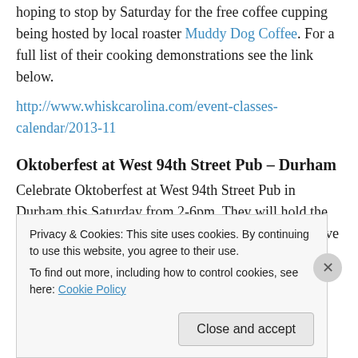hoping to stop by Saturday for the free coffee cupping being hosted by local roaster Muddy Dog Coffee. For a full list of their cooking demonstrations see the link below.
http://www.whiskcarolina.com/event-classes-calendar/2013-11
Oktoberfest at West 94th Street Pub – Durham
Celebrate Oktoberfest at West 94th Street Pub in Durham this Saturday from 2-6pm. They will hold the event in the parking lot in front of the pub and will have live music, German Style food and local beer from LoneRider, Triangle Brewery, White Street Brewery, and Foothills
Privacy & Cookies: This site uses cookies. By continuing to use this website, you agree to their use.
To find out more, including how to control cookies, see here: Cookie Policy
Close and accept